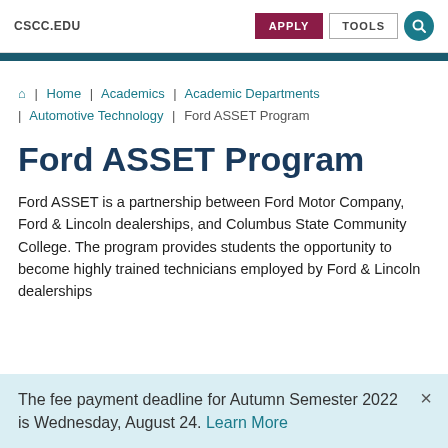CSCC.EDU  APPLY  TOOLS
Home | Academics | Academic Departments | Automotive Technology | Ford ASSET Program
Ford ASSET Program
Ford ASSET is a partnership between Ford Motor Company, Ford & Lincoln dealerships, and Columbus State Community College. The program provides students the opportunity to become highly trained technicians employed by Ford & Lincoln dealerships
The fee payment deadline for Autumn Semester 2022 is Wednesday, August 24. Learn More